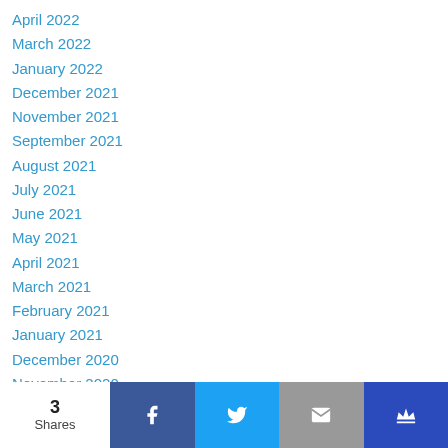April 2022
March 2022
January 2022
December 2021
November 2021
September 2021
August 2021
July 2021
June 2021
May 2021
April 2021
March 2021
February 2021
January 2021
December 2020
November 2020
October 2020
September 2020
3 Shares | Facebook | Twitter | Email | King